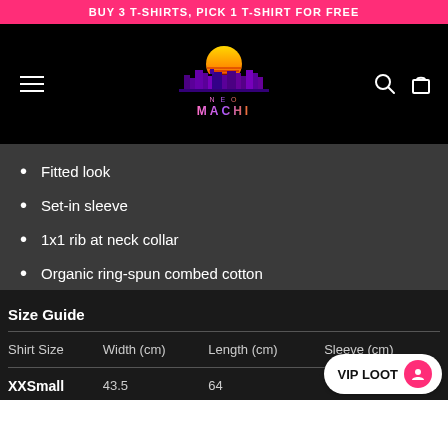BUY 3 T-SHIRTS, PICK 1 T-SHIRT FOR FREE
[Figure (logo): NeoMachi logo with retro city skyline and sunset, purple/orange gradient text]
Fitted look
Set-in sleeve
1x1 rib at neck collar
Organic ring-spun combed cotton
Size Guide
| Shirt Size | Width (cm) | Length (cm) | Sleeve (cm) |
| --- | --- | --- | --- |
| XXSmall | 43.5 | 64 |  |